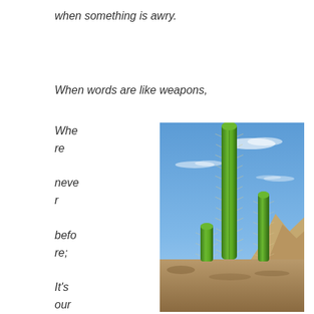when something is awry.
When words are like weapons,
Where never before;

It's our job to
[Figure (photo): Three tall green saguaro cacti against a blue sky with wispy clouds, rocky desert terrain in the background. The cacti are spiny and bright green.]